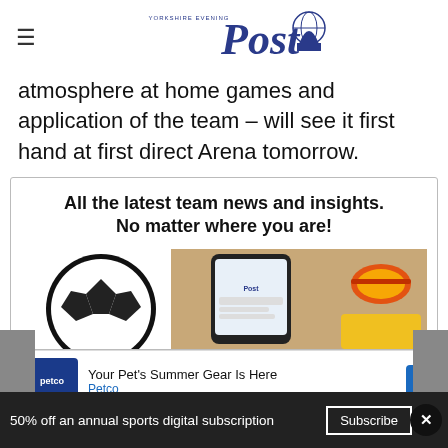Yorkshire Evening Post
atmosphere at home games and application of the team – will see it first hand at first direct Arena tomorrow.
[Figure (infographic): Promotional box with headline 'All the latest team news and insights. No matter where you are!' and an image of a phone with a soccer ball and sunglasses]
[Figure (infographic): Advertisement banner: Petco - Your Pet's Summer Gear Is Here]
50% off an annual sports digital subscription | Subscribe